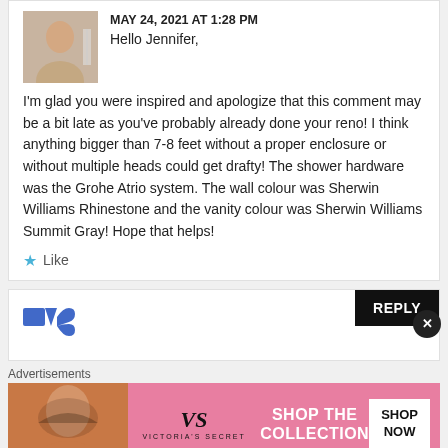MAY 24, 2021 AT 1:28 PM
Hello Jennifer,
I'm glad you were inspired and apologize that this comment may be a bit late as you've probably already done your reno! I think anything bigger than 7-8 feet without a proper enclosure or without multiple heads could get drafty! The shower hardware was the Grohe Atrio system. The wall colour was Sherwin Williams Rhinestone and the vanity colour was Sherwin Williams Summit Gray! Hope that helps!
Like
REPLY
Advertisements
[Figure (other): Victoria's Secret advertisement banner showing a woman with curly hair, VS logo, text SHOP THE COLLECTION, and SHOP NOW button]